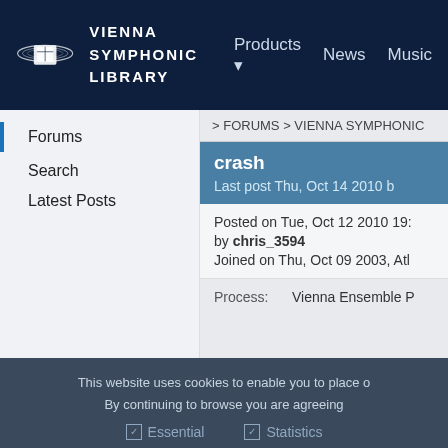VIENNA SYMPHONIC LIBRARY — Products News Music
Forums
Search
Latest Posts
> FORUMS > VIENNA SYMPHONIC
crash
Last post Thu, Oct 14 2010 b
Posted on Tue, Oct 12 2010 19:
by chris_3594
Joined on Thu, Oct 09 2003, Atl
Process:    Vienna Ensemble P
This website uses cookies to enable you to place o
By continuing to browse you are agreeing
Essential   Statistics